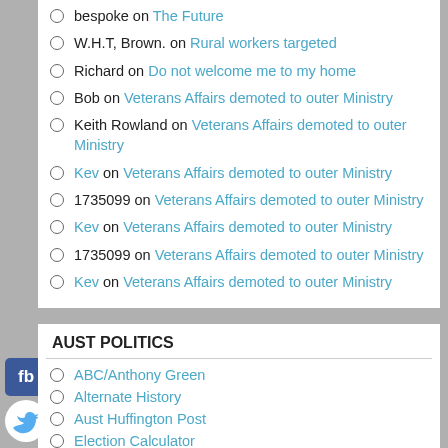bespoke on The Future
W.H.T, Brown. on Rural workers targeted
Richard on Do not welcome me to my home
Bob on Veterans Affairs demoted to outer Ministry
Keith Rowland on Veterans Affairs demoted to outer Ministry
Kev on Veterans Affairs demoted to outer Ministry
1735099 on Veterans Affairs demoted to outer Ministry
Kev on Veterans Affairs demoted to outer Ministry
1735099 on Veterans Affairs demoted to outer Ministry
Kev on Veterans Affairs demoted to outer Ministry
AUST POLITICS
ABC/Anthony Green
Alternate History
Aust Huffington Post
Election Calculator